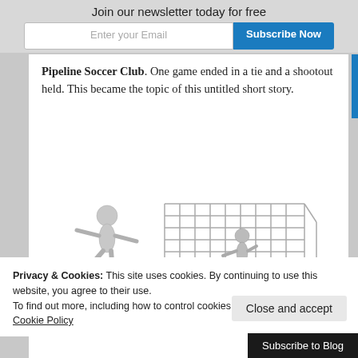Join our newsletter today for free
Enter your Email | Subscribe Now
Pipeline Soccer Club. One game ended in a tie and a shootout held. This became the topic of this untitled short story.
[Figure (illustration): Two white/grey 3D figurines playing soccer in front of a goal net, one kicking a soccer ball towards the net and one acting as goalkeeper]
Privacy & Cookies: This site uses cookies. By continuing to use this website, you agree to their use.
To find out more, including how to control cookies, see here:
Cookie Policy
Close and accept
Elizabeth watched the soccer ball fly pa
Subscribe to Blog